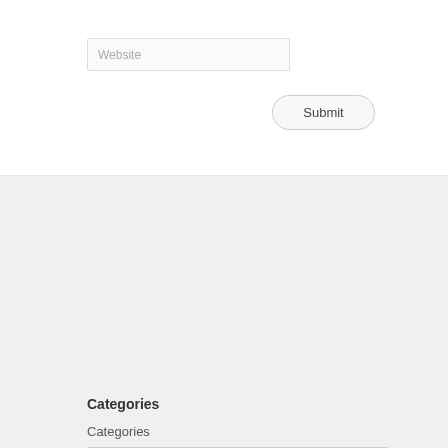[Figure (screenshot): Website input text field with placeholder text 'Website']
[Figure (screenshot): Submit button with rounded corners]
Categories
Categories
[Figure (screenshot): Dropdown select box with 'Select Category' placeholder and dropdown arrow]
Meta
» Site Admin
» Log out